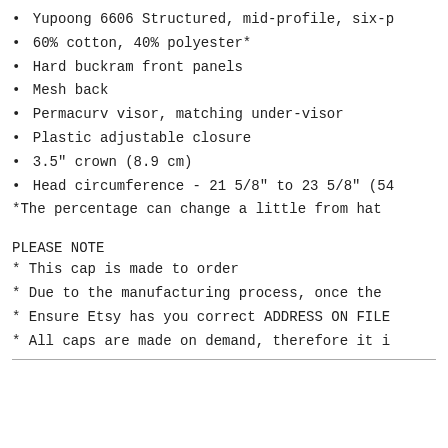• Yupoong 6606 Structured, mid-profile, six-p
• 60% cotton, 40% polyester*
• Hard buckram front panels
• Mesh back
• Permacurv visor, matching under-visor
• Plastic adjustable closure
• 3.5" crown (8.9 cm)
• Head circumference - 21 5/8" to 23 5/8" (54
*The percentage can change a little from hat
PLEASE NOTE
* This cap is made to order
* Due to the manufacturing process, once the
* Ensure Etsy has you correct ADDRESS ON FILE
* All caps are made on demand, therefore it i